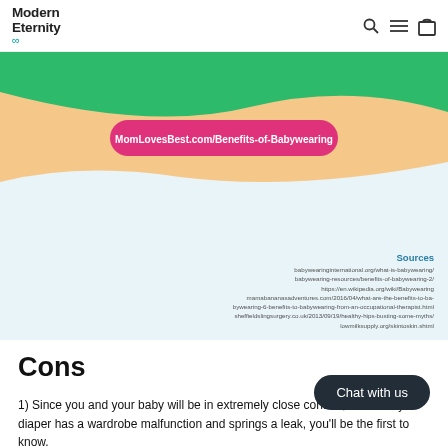[Figure (screenshot): Modern Eternity website navigation bar with logo and icons for search, menu, and shopping bag]
[Figure (infographic): Infographic with colorful wavy background (green, peach) containing a pink pill-shaped badge with URL: MomLovesBest.com/Benefits-of-Babywearing]
Sources
babywearinginternational.org/what-is-babywearing/babywearing-resources/benefits-of-babywearing-2/
https://en.wikipedia.org/wiki/Babywearing
mamabananasadventures.com/2016/04/what-are-the-benefits-to-babywearing-6-benefits-to-babywearing-from-an-occupational-therapist.html
sheffieldslingsurgery.co.uk/2013/09/19/healthy-hips-busting-some-myths/
lowmilksupply.org/skintoskin.shtml
Cons
1) Since you and your baby will be in extremely close contact, if the baby's diaper has a wardrobe malfunction and springs a leak, you'll be the first to know.